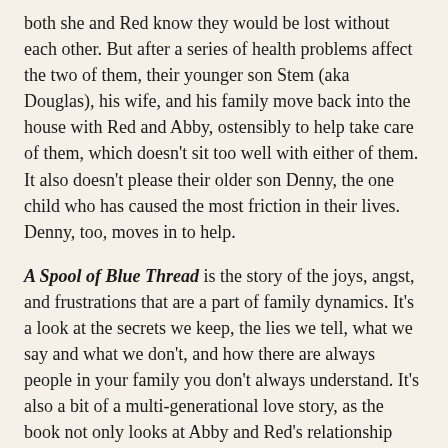both she and Red know they would be lost without each other. But after a series of health problems affect the two of them, their younger son Stem (aka Douglas), his wife, and his family move back into the house with Red and Abby, ostensibly to help take care of them, which doesn't sit too well with either of them. It also doesn't please their older son Denny, the one child who has caused the most friction in their lives. Denny, too, moves in to help.
A Spool of Blue Thread is the story of the joys, angst, and frustrations that are a part of family dynamics. It's a look at the secrets we keep, the lies we tell, what we say and what we don't, and how there are always people in your family you don't always understand. It's also a bit of a multi-generational love story, as the book not only looks at Abby and Red's relationship both at the start and in the present, but also looks at the relationship of Red's parents, Junior and Linnie Mae.
I have always loved Tyler's writing, and her use of language and storytelling is in fine form once again. Her characters are quirky and a little eccentric, but they have a lot of heart, and you really get drawn into their lives. I enjoyed this book a great deal, although it took a while for me to warm up to the section about Junior and